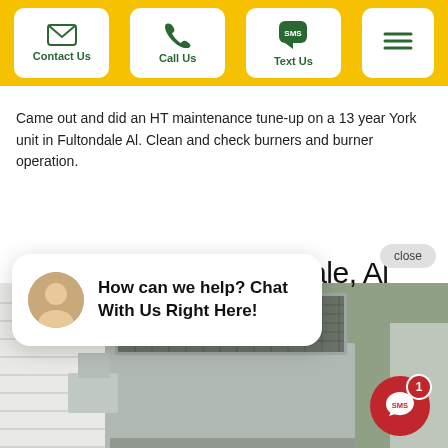Contact Us | Call Us | Text Us
Came out and did an HT maintenance tune-up on a 13 year York unit in Fultondale Al. Clean and check burners and burner operation.
Near Cody Cir, Fultondale, Al
How can we help? Chat With Us Right Here!
[Figure (photo): Outdoor HVAC unit (York) installed next to a building with white siding, shown from the side, grey metal cabinet with mesh grille on top.]